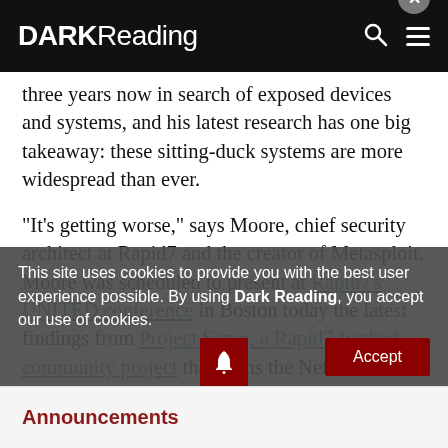DARK Reading
three years now in search of exposed devices and systems, and his latest research has one big takeaway: these sitting-duck systems are more widespread than ever.
"It's getting worse," says Moore, chief security architect at Rapid7 and the creator of Metasploit. Moore was scheduled to present at Rapid7's UNITED conference in Boston today the latest findings from Project Sonar, a Rapid7-backed community project that scans the Net for vulnerable devices and systems.
Moore, who spoke with Dark Reading prior to his presentation, says one reason for a spike in exploitable nodes is that a few dozen Internet service providers are
This site uses cookies to provide you with the best user experience possible. By using Dark Reading, you accept our use of cookies.
Announcements